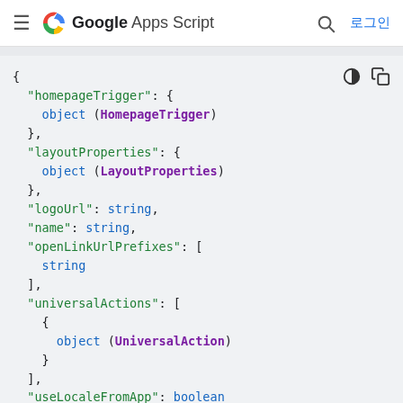Google Apps Script   🔍  로그인
[Figure (screenshot): Code block showing a JSON-like object schema with fields: homepageTrigger (HomepageTrigger), layoutProperties (LayoutProperties), logoUrl (string), name (string), openLinkUrlPrefixes ([string]), universalActions ([{UniversalAction}]), useLocaleFromApp (boolean)]